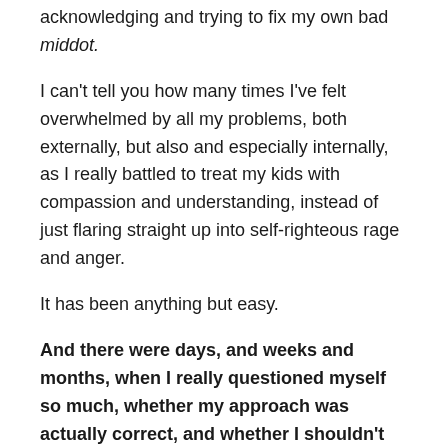acknowledging and trying to fix my own bad middot.
I can't tell you how many times I've felt overwhelmed by all my problems, both externally, but also and especially internally, as I really battled to treat my kids with compassion and understanding, instead of just flaring straight up into self-righteous rage and anger.
It has been anything but easy.
And there were days, and weeks and months, when I really questioned myself so much, whether my approach was actually correct, and whether I shouldn't have tried to 'lay down the law' more with my kids.